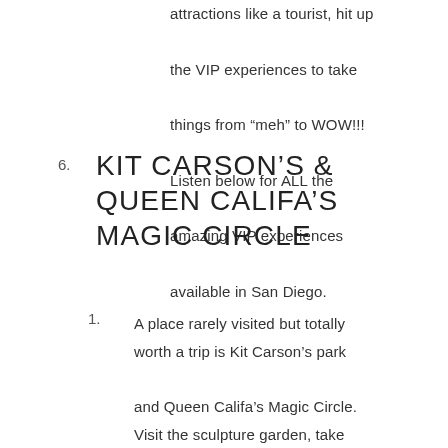attractions like a tourist, hit up the VIP experiences to take things from “meh” to WOW!!! Listen below for ALL the amazing VIP experiences available in San Diego.
6. KIT CARSON’S & QUEEN CALIFA’S MAGIC CIRCLE
1. A place rarely visited but totally worth a trip is Kit Carson’s park and Queen Califa’s Magic Circle. Visit the sculpture garden, take your kids to see the ducks, play on the playground, or enjoy a hike. Older kids will appreciate the 22,000 sq ft skate park and